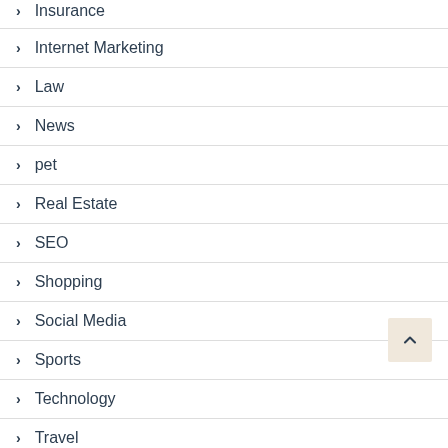Insurance
Internet Marketing
Law
News
pet
Real Estate
SEO
Shopping
Social Media
Sports
Technology
Travel
Web design